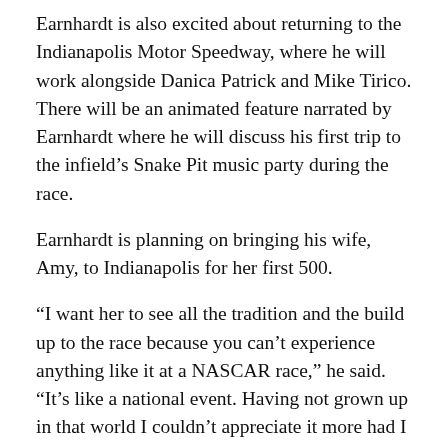Earnhardt is also excited about returning to the Indianapolis Motor Speedway, where he will work alongside Danica Patrick and Mike Tirico. There will be an animated feature narrated by Earnhardt where he will discuss his first trip to the infield’s Snake Pit music party during the race.
Earnhardt is planning on bringing his wife, Amy, to Indianapolis for her first 500.
“I want her to see all the tradition and the build up to the race because you can’t experience anything like it at a NASCAR race,” he said. “It’s like a national event. Having not grown up in that world I couldn’t appreciate it more had I been born into it.”
Earnhardt’s offseason did include a return to the NASCAR booth as an analyst for Fox during last month’s race at Talladega. He said it was a good chance to knock the rust off before NBC’s schedule begins June 6 at Nashville.